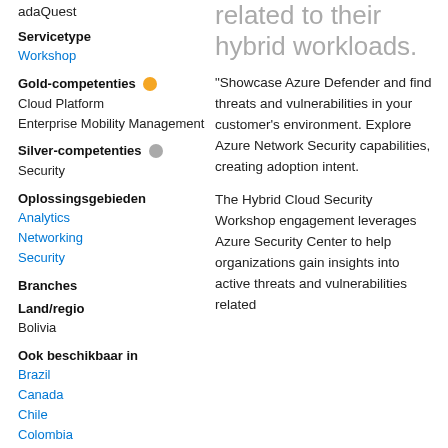adaQuest
Servicetype
Workshop
Gold-competenties
Cloud Platform
Enterprise Mobility Management
Silver-competenties
Security
Oplossingsgebieden
Analytics
Networking
Security
Branches
Land/regio
Bolivia
Ook beschikbaar in
Brazil
Canada
Chile
Colombia
Costa Rica
Meer...
related to their hybrid workloads.
“Showcase Azure Defender and find threats and vulnerabilities in your customer’s environment. Explore Azure Network Security capabilities, creating adoption intent.
The Hybrid Cloud Security Workshop engagement leverages Azure Security Center to help organizations gain insights into active threats and vulnerabilities related